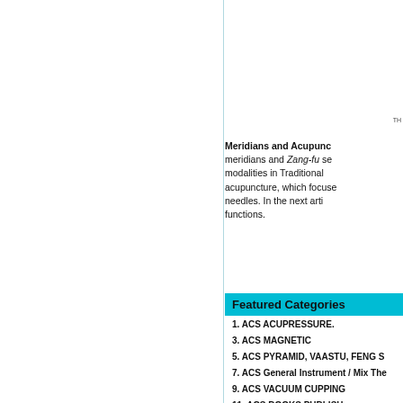TH
Meridians and Acupuncture meridians and Zang-fu se modalities in Traditional acupuncture, which focuse needles. In the next arti functions.
Featured Categories
1. ACS ACUPRESSURE.
3. ACS MAGNETIC
5. ACS PYRAMID, VAASTU, FENG S
7. ACS General Instrument / Mix The
9. ACS VACUUM CUPPING
11. ACS BOOKS PUBLISH
13. OTHER ACUPRESSURE